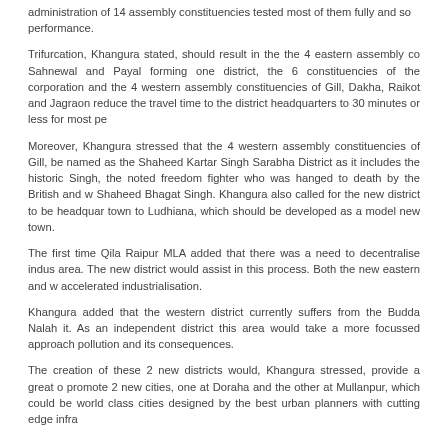administration of 14 assembly constituencies tested most of them fully and so performance.
Trifurcation, Khangura stated, should result in the the 4 eastern assembly constituencies of Sahnewal and Payal forming one district, the 6 constituencies of the corporation and the 4 western assembly constituencies of Gill, Dakha, Raikot and Jagraon reduce the travel time to the district headquarters to 30 minutes or less for most people.
Moreover, Khangura stressed that the 4 western assembly constituencies of Gill, should be named as the Shaheed Kartar Singh Sarabha District as it includes the historic village of Singh, the noted freedom fighter who was hanged to death by the British and was an inspiration to Shaheed Bhagat Singh. Khangura also called for the new district to be headquartered at a new town to Ludhiana, which should be developed as a model new town.
The first time Qila Raipur MLA added that there was a need to decentralise industrialisation in the area. The new district would assist in this process. Both the new eastern and western districts accelerated industrialisation.
Khangura added that the western district currently suffers from the Budda Nalah pollution flowing through it. As an independent district this area would take a more focussed approach to dealing with the pollution and its consequences.
The creation of these 2 new districts would, Khangura stressed, provide a great opportunity to promote 2 new cities, one at Doraha and the other at Mullanpur, which could be developed as world class cities designed by the best urban planners with cutting edge infrastructure.